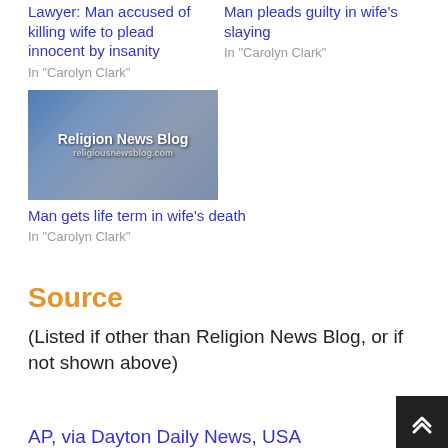Lawyer: Man accused of killing wife to plead innocent by insanity
In "Carolyn Clark"
Man pleads guilty in wife's slaying
In "Carolyn Clark"
[Figure (photo): Newspaper rack image with 'Religion News Blog' text overlay and website URL]
Man gets life term in wife's death
In "Carolyn Clark"
Source
(Listed if other than Religion News Blog, or if not shown above)
AP, via Dayton Daily News, USA